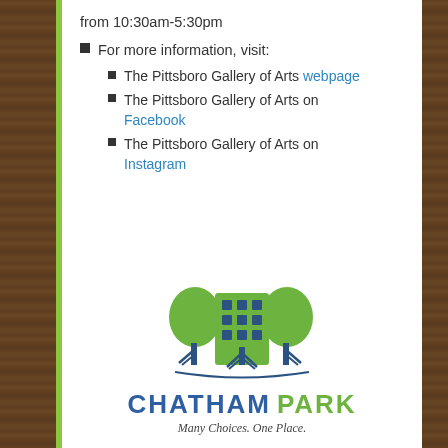from 10:30am-5:30pm
For more information, visit:
The Pittsboro Gallery of Arts webpage
The Pittsboro Gallery of Arts on Facebook
The Pittsboro Gallery of Arts on Instagram
[Figure (logo): Chatham Park logo with stylized green trees and building, text reads CHATHAM PARK Many Choices. One Place.]